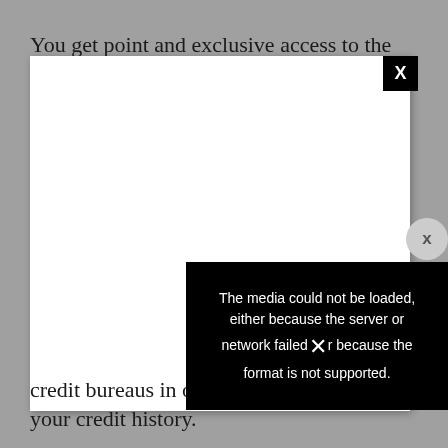You get point and exclusive access to the Extra
[Figure (screenshot): A modal/popup window with a white content area and a black close button (X) in the top-right corner. A circular close button appears on the right side. An error overlay in the bottom-right portion of the modal displays 'The media could not be loaded, either because the server or network failed or because the format is not supported.' on a black background with a white X cross over the text.]
credit bureaus in order to help you increase your credit history.